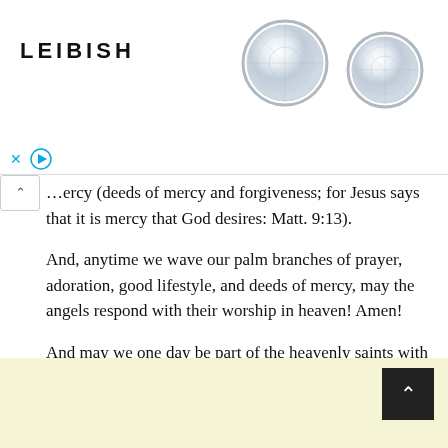[Figure (illustration): Advertisement banner for LEIBISH jewelry showing two round diamond stud earrings in bezel settings on white background, with LEIBISH logo text on the left, and ad control icons (X and play button) at the bottom left of the banner.]
…ercy (deeds of mercy and forgiveness; for Jesus says that it is mercy that God desires: Matt. 9:13).
And, anytime we wave our palm branches of prayer, adoration, good lifestyle, and deeds of mercy, may the angels respond with their worship in heaven! Amen!
And may we one day be part of the heavenly saints with palm branches and witness ‘live’ the angels prostrating before the throne of God and of the Lamb of God! Amen!
By Very Rev. Fr. John Louis